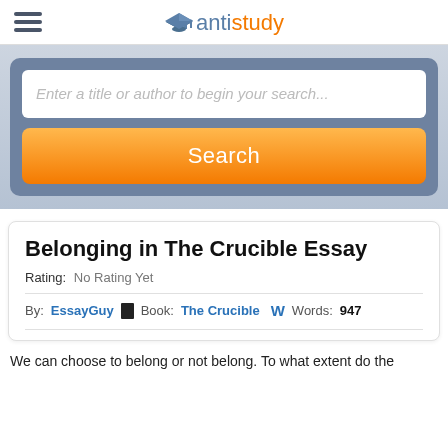antistudy
[Figure (screenshot): Search box with placeholder text 'Enter a title or author to begin your search...' and an orange Search button]
Belonging in The Crucible Essay
Rating: No Rating Yet
By: EssayGuy  Book: The Crucible  W Words: 947
We can choose to belong or not belong. To what extent do the